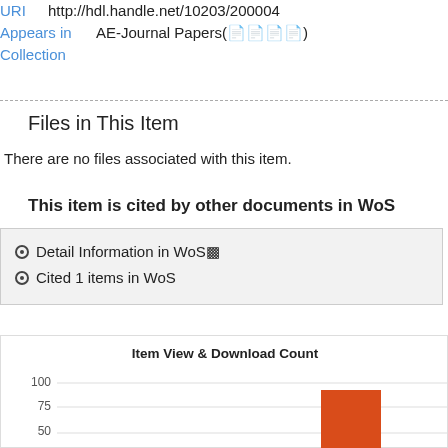URI  http://hdl.handle.net/10203/200004
Appears in Collection  AE-Journal Papers(학술지논문)
Files in This Item
There are no files associated with this item.
This item is cited by other documents in WoS
Detail Information in WoS↗
Cited 1 items in WoS
[Figure (bar-chart): Item View & Download Count]